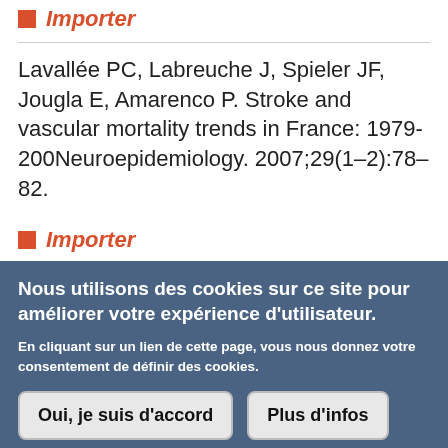Importer
Lavallée PC, Labreuche J, Spieler JF, Jougla E, Amarenco P. Stroke and vascular mortality trends in France: 1979-200Neuroepidemiology. 2007;29(1–2):78–82.
Importer
Nous utilisons des cookies sur ce site pour améliorer votre expérience d'utilisateur. En cliquant sur un lien de cette page, vous nous donnez votre consentement de définir des cookies.
Oui, je suis d'accord
Plus d'infos
in  [LinkedIn]  [Twitter]  f [Facebook]